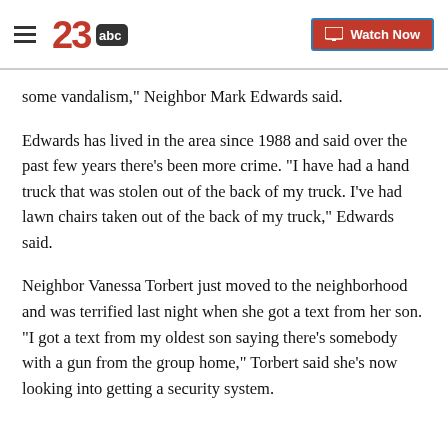23abc | Watch Now
some vandalism," Neighbor Mark Edwards said.
Edwards has lived in the area since 1988 and said over the past few years there's been more crime. "I have had a hand truck that was stolen out of the back of my truck. I've had lawn chairs taken out of the back of my truck," Edwards said.
Neighbor Vanessa Torbert just moved to the neighborhood and was terrified last night when she got a text from her son. "I got a text from my oldest son saying there's somebody with a gun from the group home," Torbert said she's now looking into getting a security system.